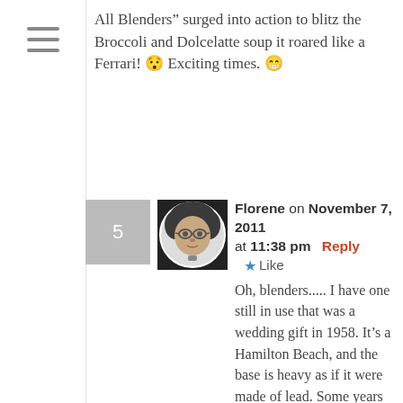All Blenders” surged into action to blitz the Broccoli and Dolcelatte soup it roared like a Ferrari! 😯 Exciting times. 😁
Florene on November 7, 2011 at 11:38 pm Reply ★ Like
Oh, blenders..... I have one still in use that was a wedding gift in 1958. It’s a Hamilton Beach, and the base is heavy as if it were made of lead. Some years ago I bought a new blade, but everything else is original equipment. I think it’s lasted so long because its 1981 companion Cuisinart food processor took some of the load off poor old Hamilton. I used